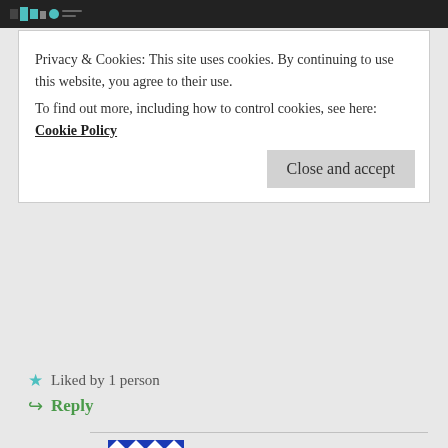Privacy & Cookies: This site uses cookies. By continuing to use this website, you agree to their use.
To find out more, including how to control cookies, see here: Cookie Policy
Close and accept
★ Liked by 1 person
↪ Reply
DAN
August 1, 2019 at 9:26 pm
Visit doctorofcredit – you will find many bank signup bonuses and deposit bonuses. There was a 1% match on up to 100k in transfers from Ally if deposit